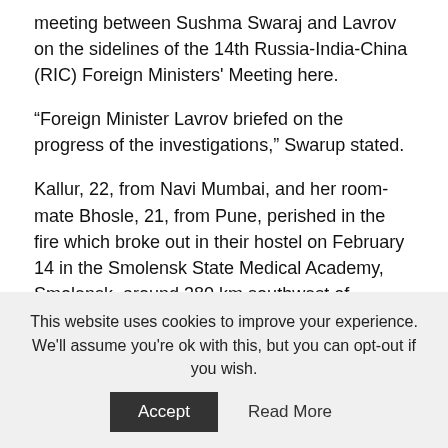meeting between Sushma Swaraj and Lavrov on the sidelines of the 14th Russia-India-China (RIC) Foreign Ministers' Meeting here.
“Foreign Minister Lavrov briefed on the progress of the investigations,” Swarup stated.
Kallur, 22, from Navi Mumbai, and her room-mate Bhosle, 21, from Pune, perished in the fire which broke out in their hostel on February 14 in the Smolensk State Medical Academy, Smolensk, around 380 km southwest of Moscow.
Yasir, a medical student from Srinagar, had reached Russia on February 26 on a business trip. He was
This website uses cookies to improve your experience. We'll assume you're ok with this, but you can opt-out if you wish.
Accept    Read More